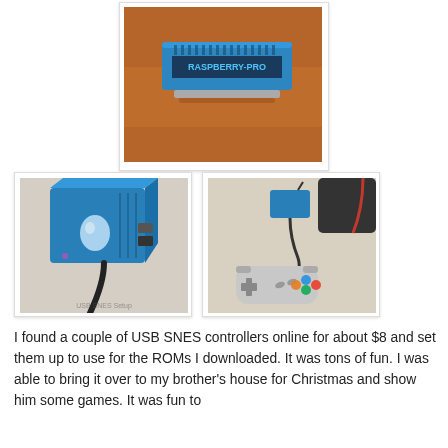[Figure (photo): A blue Raspberry Pi case/enclosure sitting on a wooden surface, top view showing ventilation slots and a label reading 'Raspberry Pro' or similar]
[Figure (photo): A blue Raspberry Pi case with a USB cable plugged in, sitting on a light-colored fabric surface, side/rear view showing ports]
[Figure (photo): A blue Raspberry Pi case next to a SNES-style USB game controller with colored buttons, on a light fabric surface, with cables visible]
I found a couple of USB SNES controllers online for about $8 and set them up to use for the ROMs I downloaded. It was tons of fun. I was able to bring it over to my brother's house for Christmas and show him some games. It was fun to